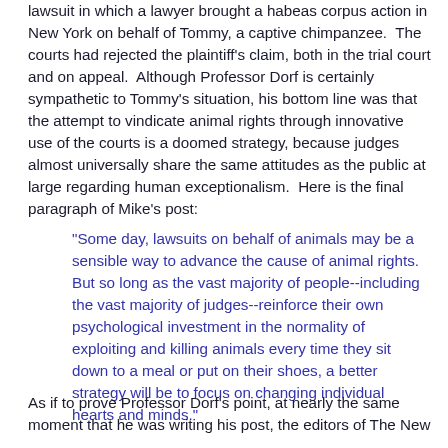lawsuit in which a lawyer brought a habeas corpus action in New York on behalf of Tommy, a captive chimpanzee. The courts had rejected the plaintiff's claim, both in the trial court and on appeal. Although Professor Dorf is certainly sympathetic to Tommy's situation, his bottom line was that the attempt to vindicate animal rights through innovative use of the courts is a doomed strategy, because judges almost universally share the same attitudes as the public at large regarding human exceptionalism. Here is the final paragraph of Mike's post:
"Some day, lawsuits on behalf of animals may be a sensible way to advance the cause of animal rights. But so long as the vast majority of people--including the vast majority of judges--reinforce their own psychological investment in the normality of exploiting and killing animals every time they sit down to a meal or put on their shoes, a better strategy will be to focus on changing individual hearts and minds."
As if to prove Professor Dorf's point, at nearly the same moment that he was writing his post, the editors of The New